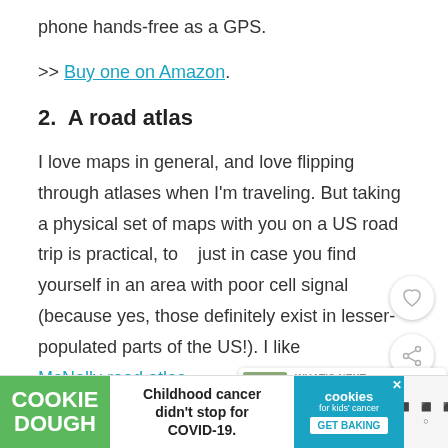phone hands-free as a GPS.
>> Buy one on Amazon.
2.  A road atlas
I love maps in general, and love flipping through atlases when I'm traveling. But taking a physical set of maps with you on a US road trip is practical, too, just in case you find yourself in an area with poor cell signal (because yes, those definitely exist in lesser-populated parts of the US!). I like the Rand McNally road atlas.
[Figure (other): Advertisement banner: Cookie Dough brand - Childhood cancer didn't stop for COVID-19. Cookies for kids cancer GET BAKING]